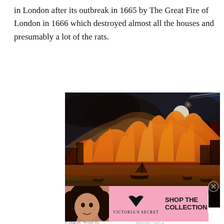in London after its outbreak in 1665 by The Great Fire of London in 1666 which destroyed almost all the houses and presumably a lot of the rats.
[Figure (illustration): Historical oil painting of The Great Fire of London, showing massive orange flames consuming the city skyline at night, with the Thames River in the foreground containing boats, and smoke billowing into a dark blue sky with a visible moon.]
The Great Fire of London destroyed the city and the Plague with it.
Advertisements
[Figure (other): Victoria's Secret advertisement banner with pink background, showing a woman's face on the left, the VS logo in the center with 'Victoria's Secret' text, 'SHOP THE COLLECTION' text, and a 'SHOP NOW' white button on the right.]